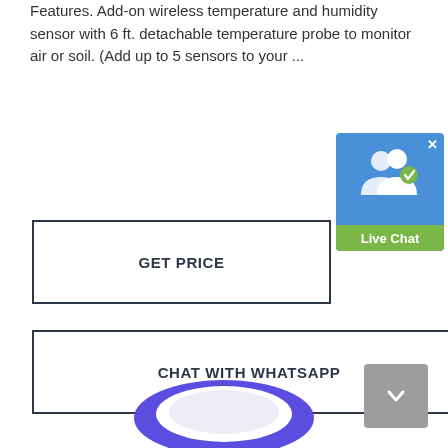Features. Add-on wireless temperature and humidity sensor with 6 ft. detachable temperature probe to monitor air or soil. (Add up to 5 sensors to your ...
[Figure (other): Live Chat widget button with two person icons and a green Live Chat label bar, with an X close button]
GET PRICE
CHAT WITH WHATSAPP
[Figure (other): Scroll to top button (gray rounded square with upward chevron arrow)]
[Figure (other): Product image — circular device with purple/blue ring, partially visible at page bottom]